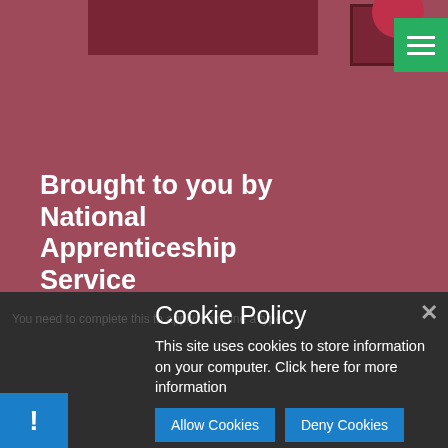[Figure (screenshot): Hero banner with dark red/mauve background color #9e4a5a, decorative dark red rectangles and a hamburger menu button in green top right. National Apprenticeship Service branding.]
Brought to you by National Apprenticeship Service
Cookie Policy
This site uses cookies to store information on your computer. Click here for more information
Allow Cookies
Deny Cookies